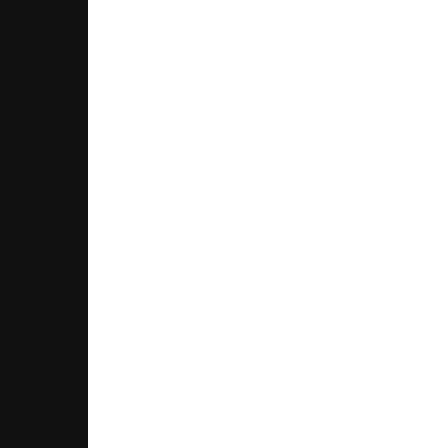[Figure (illustration): Cartoon illustration on teal/turquoise background showing a hedgehog or porcupine character sitting in or near a large armchair or sofa, drawn in black and white sketch style on teal background]
"WE LOVED ALL... BUT WE WEG... PUT THEM IN..."
Copyr...
I adore Dave Coverly's humor, and
Every book in English is made up of... that makes the difference. We've a... exquisite sentence or passage zings... beautiful because of the images the... both qualities. Here's one of my fav...
[Figure (screenshot): Small screenshot or image at the bottom right]